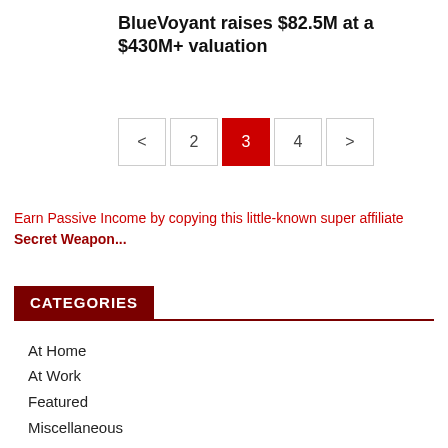BlueVoyant raises $82.5M at a $430M+ valuation
[Figure (other): Pagination control showing buttons: < 2 3 (active/highlighted in red) 4 >]
Earn Passive Income by copying this little-known super affiliate Secret Weapon...
CATEGORIES
At Home
At Work
Featured
Miscellaneous